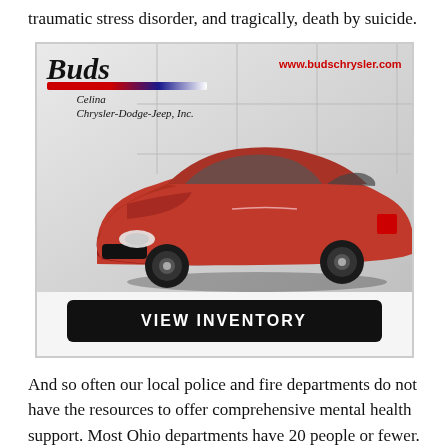All this puts first responders at risk for developing post-traumatic stress disorder, and tragically, death by suicide.
[Figure (advertisement): Bud's Celina Chrysler-Dodge-Jeep, Inc. dealership advertisement featuring a red Dodge Dart sedan with website www.budschrysler.com and a VIEW INVENTORY button]
And so often our local police and fire departments do not have the resources to offer comprehensive mental health support. Most Ohio departments have 20 people or fewer. They don't have the budgets and the personnel necessary to